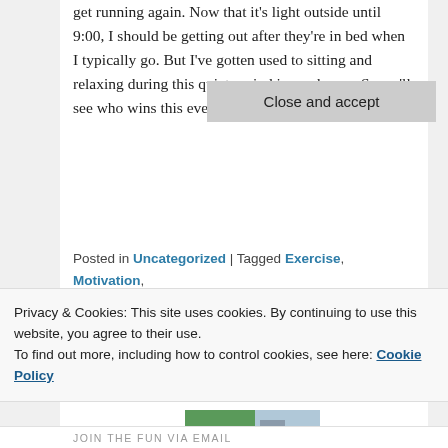get running again. Now that it's light outside until 9:00, I should be getting out after they're in bed when I typically go. But I've gotten used to sitting and relaxing during this quiet period in our house. So we'll see who wins this evening… shoes or pajamas?
Posted in Uncategorized | Tagged Exercise, Motivation, Run, Running | 4 Replies
STOMPERDAD
[Figure (photo): Selfie photo of a bald man with glasses outdoors, with grass and buildings in background]
Privacy & Cookies: This site uses cookies. By continuing to use this website, you agree to their use.
To find out more, including how to control cookies, see here: Cookie Policy
Close and accept
JOIN THE FUN VIA EMAIL